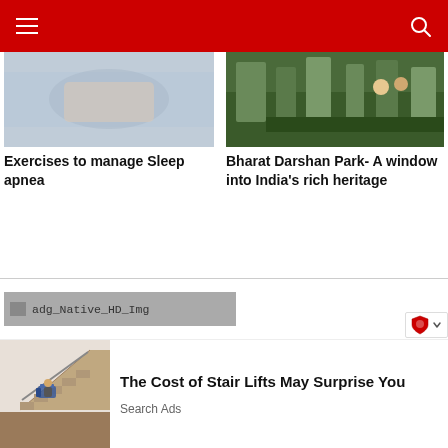Navigation bar with menu and search icons
[Figure (photo): Thumbnail image for article about exercises to manage sleep apnea]
Exercises to manage Sleep apnea
[Figure (photo): Thumbnail image of Bharat Darshan Park showing green grounds and visitors]
Bharat Darshan Park- A window into India's rich heritage
[Figure (other): Ad placeholder element labeled adg_Native_HD_Img]
[Figure (photo): Advertisement photo showing a stair lift on an indoor staircase]
The Cost of Stair Lifts May Surprise You
Search Ads